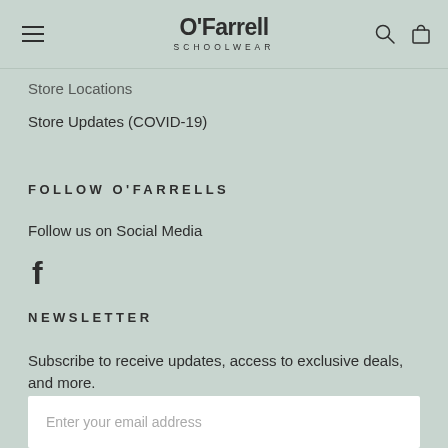O'Farrell SCHOOLWEAR
Store Locations
Store Updates (COVID-19)
FOLLOW O'FARRELLS
Follow us on Social Media
[Figure (logo): Facebook icon (f)]
NEWSLETTER
Subscribe to receive updates, access to exclusive deals, and more.
Enter your email address